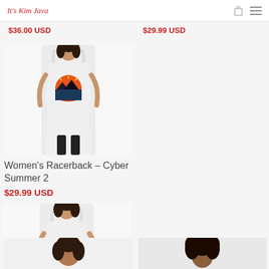It's Kim Java - logo and navigation
$36.00 USD   $29.99 USD
[Figure (photo): Woman wearing a white racerback tank top with a colorful sunset/landscape graphic design called Cyber Summer 2]
Women's Racerback – Cyber Summer 2
$29.99 USD
[Figure (photo): Woman wearing a white racerback tank top with text graphic design called Green Things]
Women's Racerback – Green Things
$32.50 USD
[Figure (photo): Partial view of product images at the bottom of the page]
[Figure (photo): Partial view of product images at the bottom of the page]